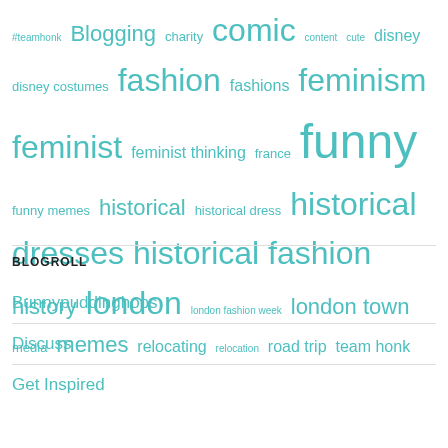#teamhonk Blogging charity comic content cute disney disney costumes fashion fashions feminism feminist feminist thinking france funny funny memes historical historical dress historical dresses historical fashion history london london fashion week london town media memes relocating relocation road trip team honk
BLOGROLL
Bunnypuddinghops
Discuss
Get Inspired